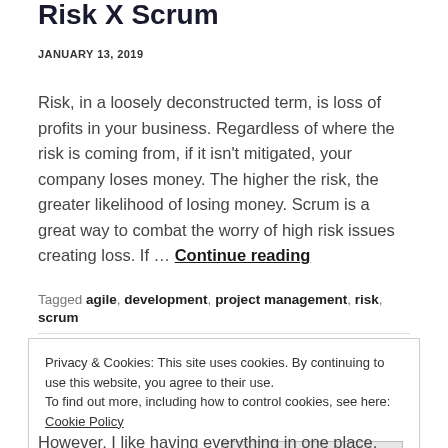Risk X Scrum
JANUARY 13, 2019
Risk, in a loosely deconstructed term, is loss of profits in your business. Regardless of where the risk is coming from, if it isn't mitigated, your company loses money. The higher the risk, the greater likelihood of losing money. Scrum is a great way to combat the worry of high risk issues creating loss. If … Continue reading
Tagged agile, development, project management, risk, scrum
Privacy & Cookies: This site uses cookies. By continuing to use this website, you agree to their use.
To find out more, including how to control cookies, see here: Cookie Policy
Close and accept
However, I like having everything in one place. There is not